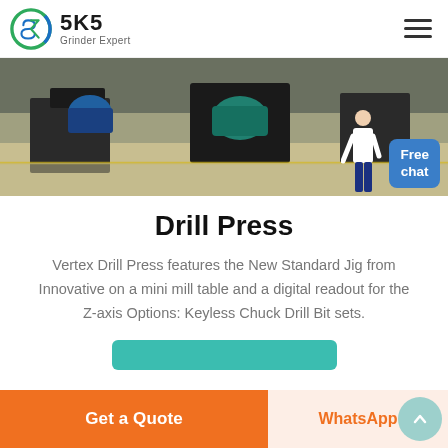SKS Grinder Expert
[Figure (photo): Industrial factory floor with heavy machinery including electric motors on stands, concrete floor with yellow line markings]
Drill Press
Vertex Drill Press features the New Standard Jig from Innovative on a mini mill table and a digital readout for the Z-axis Options: Keyless Chuck Drill Bit sets.
[Figure (other): Teal/green button partially visible at bottom of content]
Get a Quote | WhatsApp